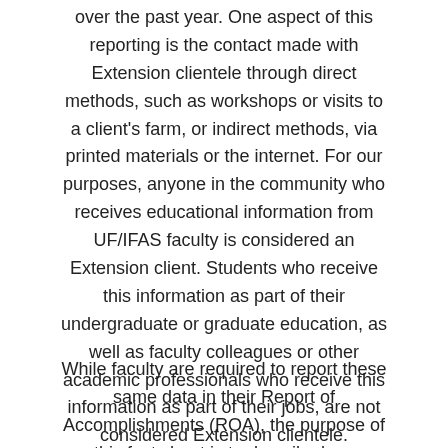over the past year. One aspect of this reporting is the contact made with Extension clientele through direct methods, such as workshops or visits to a client's farm, or indirect methods, via printed materials or the internet. For our purposes, anyone in the community who receives educational information from UF/IFAS faculty is considered an Extension client. Students who receive this information as part of their undergraduate or graduate education, as well as faculty colleagues or other academic professionals who receive this information as part of their jobs, are not considered Extension clientele.
While faculty are required to report these same data in their Report of Accomplishments (ROA), the purpose of this fact sheet is to describe how